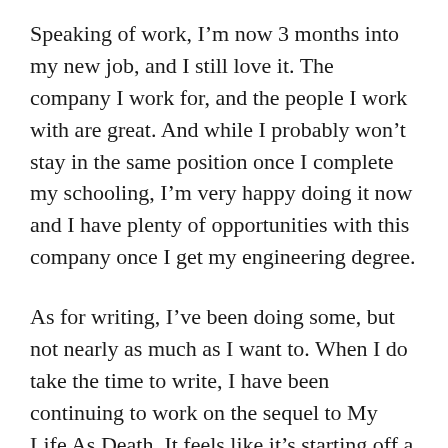Speaking of work, I'm now 3 months into my new job, and I still love it. The company I work for, and the people I work with are great. And while I probably won't stay in the same position once I complete my schooling, I'm very happy doing it now and I have plenty of opportunities with this company once I get my engineering degree.
As for writing, I've been doing some, but not nearly as much as I want to. When I do take the time to write, I have been continuing to work on the sequel to My Life As Death. It feels like it's starting off a little darker this time, but I'm also so early into it that I can't say that for sure.